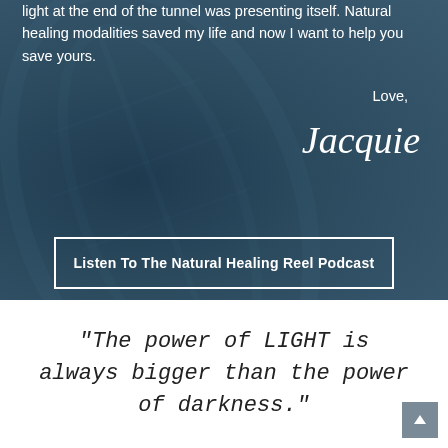light at the end of the tunnel was presenting itself. Natural healing modalities saved my life and now I want to help you save yours.
Love,
Jacquie
Listen To The Natural Healing Reel Podcast
"The power of LIGHT is always bigger than the power of darkness."